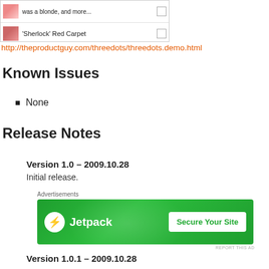[Figure (screenshot): Screenshot of a webpage showing two rows with thumbnail images and text including 'was a blonde, and more...' and ''Sherlock' Red Carpet']
http://theproductguy.com/threedots/threedots.demo.html
Known Issues
None
Release Notes
Version 1.0 – 2009.10.28
Initial release.
[Figure (screenshot): Jetpack advertisement banner with 'Secure Your Site' button on green background]
Advertisements
REPORT THIS AD
Version 1.0.1 – 2009.10.28